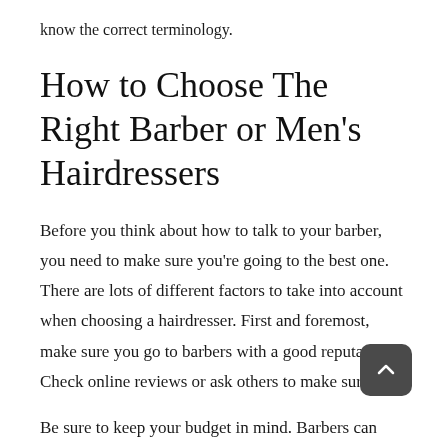know the correct terminology.
How to Choose The Right Barber or Men's Hairdressers
Before you think about how to talk to your barber, you need to make sure you're going to the best one. There are lots of different factors to take into account when choosing a hairdresser. First and foremost, make sure you go to barbers with a good reputation. Check online reviews or ask others to make sure.
Be sure to keep your budget in mind. Barbers can range in price from under twenty to well over eighty